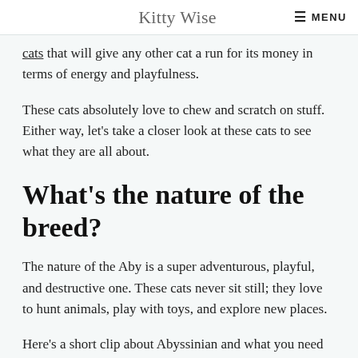Kitty Wise   MENU
cats that will give any other cat a run for its money in terms of energy and playfulness.
These cats absolutely love to chew and scratch on stuff. Either way, let's take a closer look at these cats to see what they are all about.
What's the nature of the breed?
The nature of the Aby is a super adventurous, playful, and destructive one. These cats never sit still; they love to hunt animals, play with toys, and explore new places.
Here's a short clip about Abyssinian and what you need to know about it: